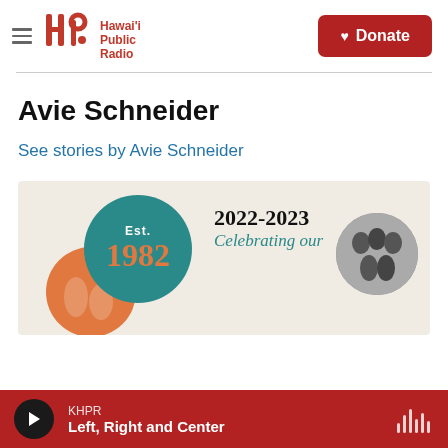Hawai'i Public Radio — Donate
Avie Schneider
See stories by Avie Schneider
[Figure (infographic): Hawai'i Public Radio anniversary banner showing Est. 1982 in a teal circle, orange circle with musicians, text '2022-2023 Celebrating our' and a black-and-white photo circle on the right.]
KHPR — Left, Right and Center